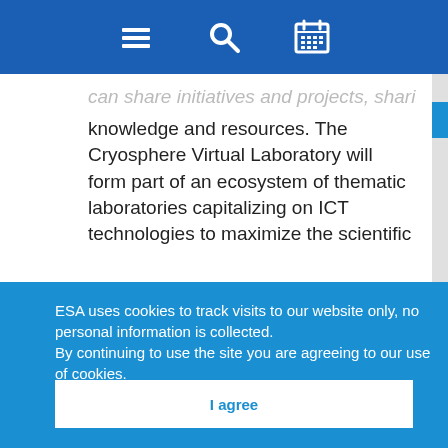[Navigation bar with menu, search, and calendar icons]
can share initiatives and projects, sharing results, knowledge and resources. The Cryosphere Virtual Laboratory will form part of an ecosystem of thematic laboratories capitalizing on ICT technologies to maximize the scientific
ESA uses cookies to track visits to our website only, no personal information is collected.
By continuing to use the site you are agreeing to our use of cookies.
Find out more about our cookies
I agree